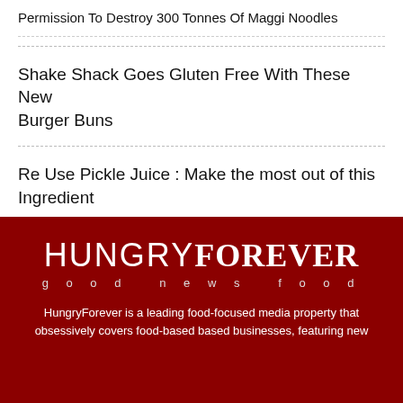Permission To Destroy 300 Tonnes Of Maggi Noodles
Shake Shack Goes Gluten Free With These New Burger Buns
Re Use Pickle Juice : Make the most out of this Ingredient
[Figure (logo): HungryForever logo with tagline 'good news food' on dark red background]
HungryForever is a leading food-focused media property that obsessively covers food-based based businesses, featuring new